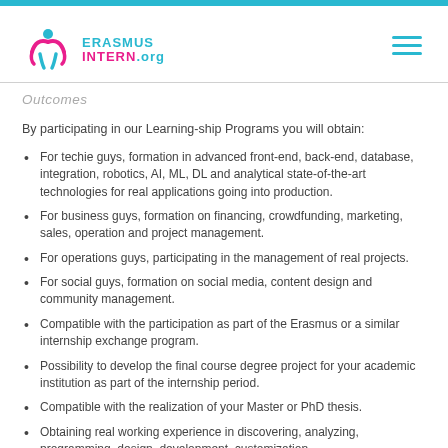ERASMUS INTERN.org
Outcomes
By participating in our Learning-ship Programs you will obtain:
For techie guys, formation in advanced front-end, back-end, database, integration, robotics, AI, ML, DL and analytical state-of-the-art technologies for real applications going into production.
For business guys, formation on financing, crowdfunding, marketing, sales, operation and project management.
For operations guys, participating in the management of real projects.
For social guys, formation on social media, content design and community management.
Compatible with the participation as part of the Erasmus or a similar internship exchange program.
Possibility to develop the final course degree project for your academic institution as part of the internship period.
Compatible with the realization of your Master or PhD thesis.
Obtaining real working experience in discovering, analyzing, programming, design, development, customization,